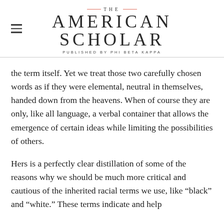THE AMERICAN SCHOLAR — PUBLISHED BY PHI BETA KAPPA
the term itself. Yet we treat those two carefully chosen words as if they were elemental, neutral in themselves, handed down from the heavens. When of course they are only, like all language, a verbal container that allows the emergence of certain ideas while limiting the possibilities of others.
Hers is a perfectly clear distillation of some of the reasons why we should be much more critical and cautious of the inherited racial terms we use, like “black” and “white.” These terms indicate and help